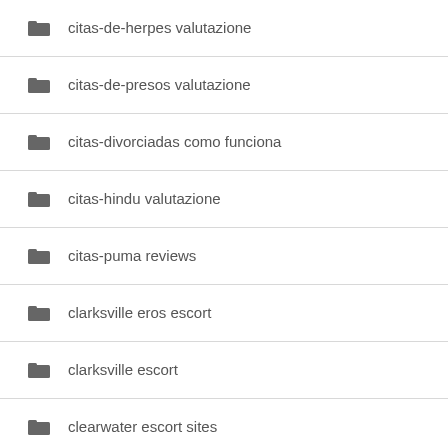citas-de-herpes valutazione
citas-de-presos valutazione
citas-divorciadas como funciona
citas-hindu valutazione
citas-puma reviews
clarksville eros escort
clarksville escort
clearwater escort sites
cleveland eros escort
cleveland escort radar
clover dating review